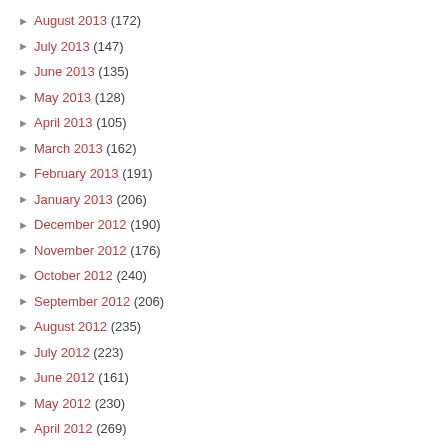August 2013 (172)
July 2013 (147)
June 2013 (135)
May 2013 (128)
April 2013 (105)
March 2013 (162)
February 2013 (191)
January 2013 (206)
December 2012 (190)
November 2012 (176)
October 2012 (240)
September 2012 (206)
August 2012 (235)
July 2012 (223)
June 2012 (161)
May 2012 (230)
April 2012 (269)